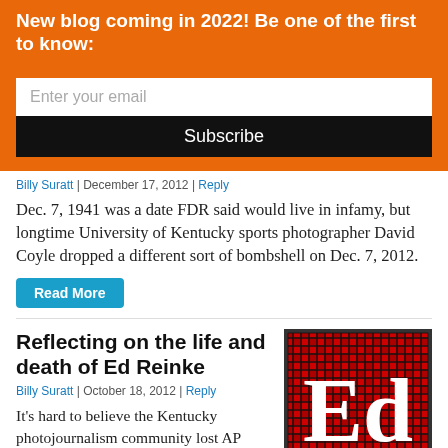New blog coming in 2022! Be one of the first to know:
[Figure (other): Email subscription form with input field 'Enter your email' and black Subscribe button]
Billy Suratt | December 17, 2012 | Reply
Dec. 7, 1941 was a date FDR said would live in infamy, but longtime University of Kentucky sports photographer David Coyle dropped a different sort of bombshell on Dec. 7, 2012.
Read More
Reflecting on the life and death of Ed Reinke
Billy Suratt | October 18, 2012 | Reply
[Figure (illustration): Red and black plaid/buffalo check pattern with white serif letters 'Ed' in the center]
It's hard to believe the Kentucky photojournalism community lost AP photographer Ed Reinke one year ago today.